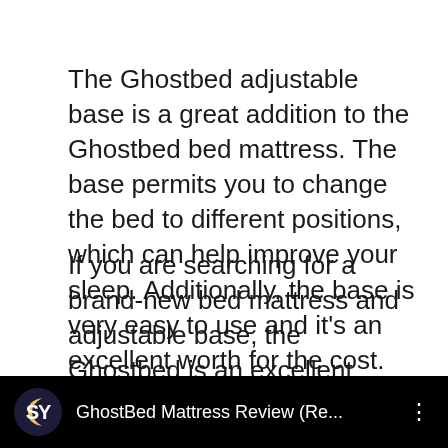The Ghostbed adjustable base is a great addition to the Ghostbed bed mattress. The base permits you to change the bed to different positions, which can help improve your sleep. Additionally, the base is very easy to use and it’s an excellent worth for the cost.
If you are searching for a brand-new bed mattress and adjustable base, the Ghostbed is an excellent option. The mix of the Ghostbed bed mattress and adjustable base will offer you with a comfy, restful sleep.
[Figure (screenshot): Video thumbnail bar with black background showing SY logo (crescent and SY text) on left and text 'GhostBed Mattress Review (Re...' with three-dot menu on right]